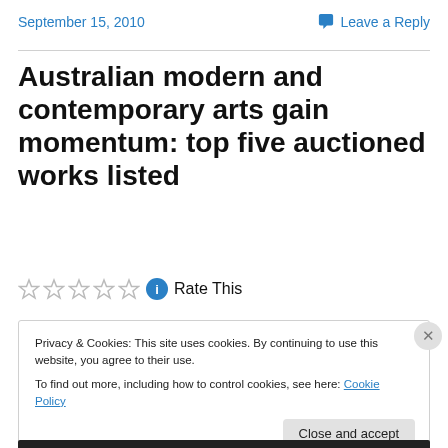September 15, 2010
Leave a Reply
Australian modern and contemporary arts gain momentum: top five auctioned works listed
Rate This
Privacy & Cookies: This site uses cookies. By continuing to use this website, you agree to their use.
To find out more, including how to control cookies, see here: Cookie Policy